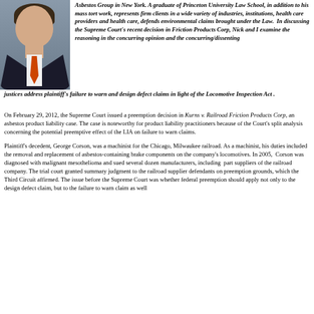[Figure (photo): Headshot photo of a young man in a dark suit with an orange tie, against a grey background]
Asbestos Group in New York. A graduate of Princeton University Law School, in addition to his mass tort work, represents firm clients in a wide variety of industries, institutions, health care providers and health care, defends environmental claims brought under the Law. In discussing the Supreme Court's recent decision in Friction Products Corp, Nick and I examine the reasoning in the concurring opinion and the concurring/dissenting justices address plaintiff's failure to warn and design defect claims in light of the Locomotive Inspection Act.
On February 29, 2012, the Supreme Court issued a preemption decision in Kurns v. Railroad Friction Products Corp, an asbestos product liability case. The case is noteworthy for product liability practitioners because of the Court's split analysis concerning the potential preemptive effect of the LIA on failure to warn claims.
Plaintiff's decedent, George Corson, was a machinist for the Chicago, Milwaukee railroad. As a machinist, his duties included the removal and replacement of asbestos-containing brake components on the company's locomotives. In 2005, Corson was diagnosed with malignant mesothelioma and sued several dozen manufacturers, including part suppliers of the railroad company. The trial court granted summary judgment to the railroad supplier defendants on preemption grounds, which the Third Circuit affirmed. The issue before the Supreme Court was whether federal preemption should apply not only to the design defect claim, but to the failure to warn claim as well